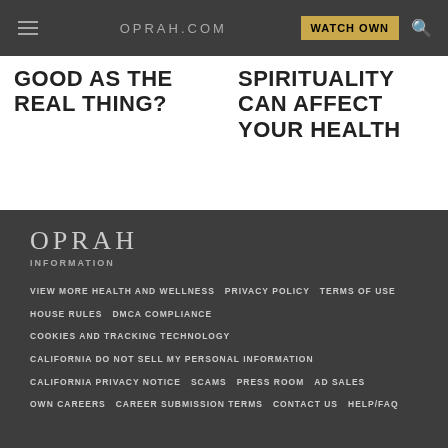OPRAH.COM
GOOD AS THE REAL THING?
SPIRITUALITY CAN AFFECT YOUR HEALTH
[Figure (logo): OPRAH logo with INFORMATION subtitle]
VIEW MORE HEALTH AND WELLNESS
PRIVACY POLICY
TERMS OF USE
HOUSE RULES
DMCA COMPLIANCE
COOKIES AND TRACKING TECHNOLOGY
CALIFORNIA DO NOT SELL MY PERSONAL INFORMATION
CALIFORNIA PRIVACY NOTICE
SCAMS
PRESS ROOM
AD SALES
OWN CAREERS
CAREER SUBMISSION TERMS
CONTACT US
HELP/FAQ